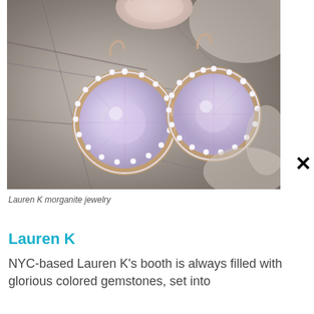[Figure (photo): Close-up photo of two morganite gemstone earrings with diamond halos in rose gold settings, resting on a stone surface. A third piece is partially visible at top.]
Lauren K morganite jewelry
Lauren K
NYC-based Lauren K's booth is always filled with glorious colored gemstones, set into